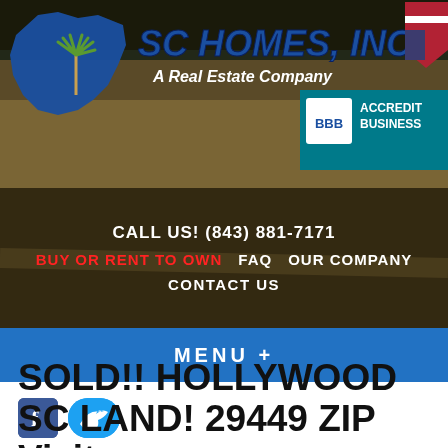[Figure (screenshot): SC Homes Inc. website header with South Carolina state shape logo, company name in blue italic text, BBB Accredited Business badge, and American shield icon, over a wooded outdoor background]
SC HOMES, INC. A Real Estate Company
CALL US! (843) 881-7171
BUY OR RENT TO OWN   FAQ   OUR COMPANY
CONTACT US
MENU +
[Figure (logo): Facebook icon (blue square with white f)]
[Figure (logo): Twitter icon (light blue rounded rectangle with white bird)]
SOLD!! HOLLYWOOD SC LAND! 29449 ZIP Visit